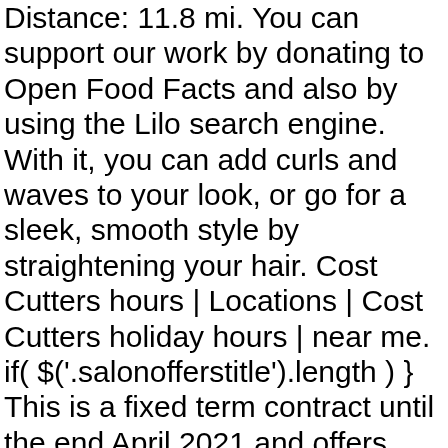Distance: 11.8 mi. You can support our work by donating to Open Food Facts and also by using the Lilo search engine. With it, you can add curls and waves to your look, or go for a sleek, smooth style by straightening your hair. Cost Cutters hours | Locations | Cost Cutters holiday hours | near me. if( $('.salonofferstitle').length ) } This is a fixed term contract until the end April 2021 and offers remote or part time working opportunities to start ASAP . This role will ... Save Job More Info Apply. -webkit-appearance: button; We are looking for an individual who has worked in a HR Advisory role with strong ER experience. } Open Food Facts is made by a non-profit association, independent from the industry. border-radius: 42px; Cost Cutters Stoneham opening hours. Costcutter Ireland is Proud to be Local! }, 2000); : color & highlights by appointment; call salon. min-width: 201px; color: #c8102e; .promoText > .btn:hover, .promoText > .btn-primary:hover { Beauty Salons. font-size: 16px; He then bleached my hair and |